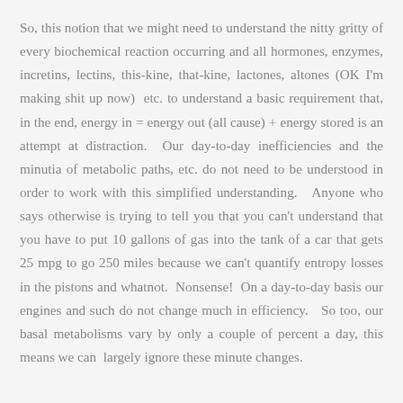So, this notion that we might need to understand the nitty gritty of every biochemical reaction occurring and all hormones, enzymes, incretins, lectins, this-kine, that-kine, lactones, altones (OK I'm making shit up now)  etc. to understand a basic requirement that, in the end, energy in = energy out (all cause) + energy stored is an attempt at distraction.  Our day-to-day inefficiencies and the minutia of metabolic paths, etc. do not need to be understood in order to work with this simplified understanding.   Anyone who says otherwise is trying to tell you that you can't understand that you have to put 10 gallons of gas into the tank of a car that gets 25 mpg to go 250 miles because we can't quantify entropy losses in the pistons and whatnot.  Nonsense!  On a day-to-day basis our engines and such do not change much in efficiency.   So too, our basal metabolisms vary by only a couple of percent a day, this means we can  largely ignore these minute changes.